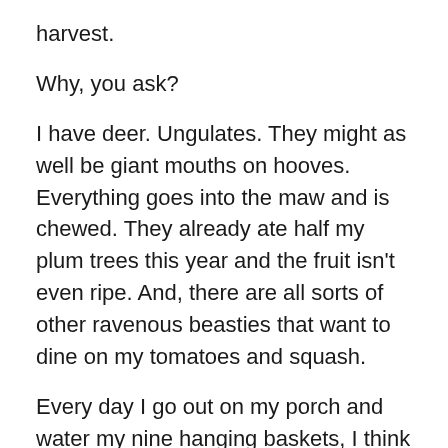harvest.
Why, you ask?
I have deer. Ungulates. They might as well be giant mouths on hooves. Everything goes into the maw and is chewed. They already ate half my plum trees this year and the fruit isn't even ripe. And, there are all sorts of other ravenous beasties that want to dine on my tomatoes and squash.
Every day I go out on my porch and water my nine hanging baskets, I think about how nice it would be to have a real garden again, like I did in the city. There's something wrong with that realization. I like the deer. They're sweet and loveable, entertaining to watch, insatiably curious, and insatiably hungry. You take the bad